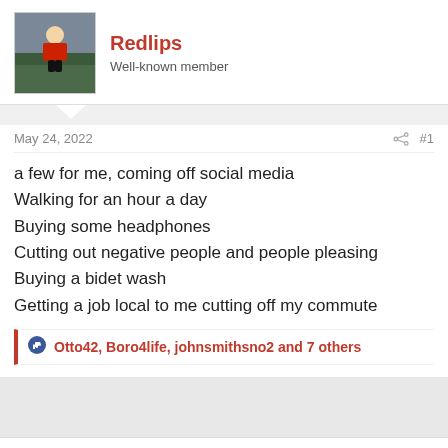Redlips
Well-known member
May 24, 2022
#1
a few for me, coming off social media
Walking for an hour a day
Buying some headphones
Cutting out negative people and people pleasing
Buying a bidet wash
Getting a job local to me cutting off my commute
Otto42, Boro4life, johnsmithsno2 and 7 others
This site uses cookies to help personalise content, tailor your experience and to keep you logged in if you register.
By continuing to use this site, you are consenting to our use of cookies.